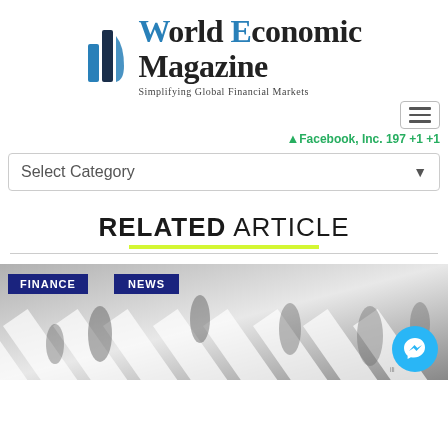[Figure (logo): World Economic Magazine logo with blue bar chart icon and text 'World Economic Magazine — Simplifying Global Financial Markets']
[Figure (other): Navigation hamburger menu button]
Facebook, Inc. 197 +1 +1
Select Category
RELATED ARTICLE
[Figure (photo): Blurred overhead photo of people crossing a zebra crossing, with FINANCE and NEWS badges overlaid, and a Messenger button in the bottom right]